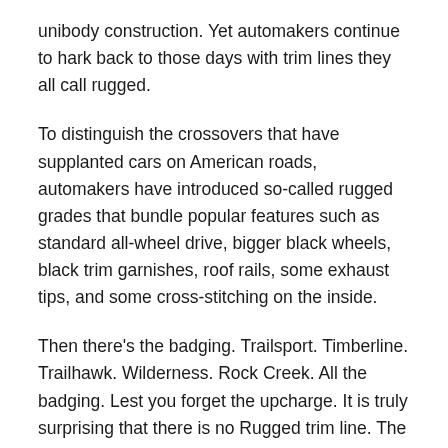unibody construction. Yet automakers continue to hark back to those days with trim lines they all call rugged.
To distinguish the crossovers that have supplanted cars on American roads, automakers have introduced so-called rugged grades that bundle popular features such as standard all-wheel drive, bigger black wheels, black trim garnishes, roof rails, some exhaust tips, and some cross-stitching on the inside.
Then there's the badging. Trailsport. Timberline. Trailhawk. Wilderness. Rock Creek. All the badging. Lest you forget the upcharge. It is truly surprising that there is no Rugged trim line. The all-new rugged SUV Rugged could get confusing.
The $1,000-$4,000 upcharge for such rugged packages